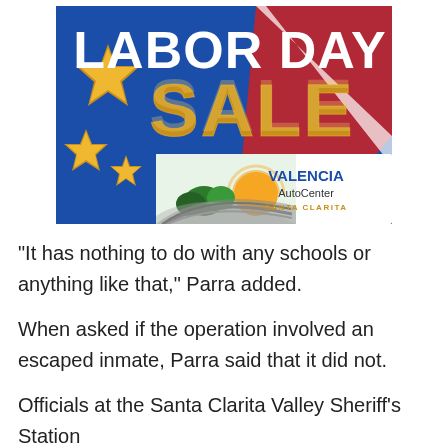[Figure (illustration): Labor Day Sale advertisement for Valencia AutoCenter Santa Clarita. Blue background with large white bold text 'LABOR DAY' and gold metallic text 'SALE'. Gold star decorations on the left. Valencia AutoCenter Santa Clarita logo at bottom right with a landscape graphic showing hills, trees, and a sun.]
“It has nothing to do with any schools or anything like that,” Parra added.
When asked if the operation involved an escaped inmate, Parra said that it did not.
Officials at the Santa Clarita Valley Sheriff’s Station